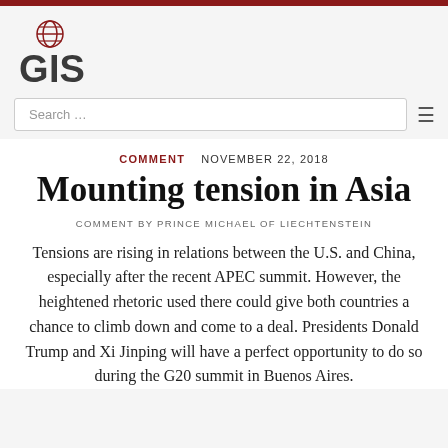[Figure (logo): GIS globe logo with bold dark gray letters G and S and a red globe icon above]
Search …
COMMENT   NOVEMBER 22, 2018
Mounting tension in Asia
COMMENT BY PRINCE MICHAEL OF LIECHTENSTEIN
Tensions are rising in relations between the U.S. and China, especially after the recent APEC summit. However, the heightened rhetoric used there could give both countries a chance to climb down and come to a deal. Presidents Donald Trump and Xi Jinping will have a perfect opportunity to do so during the G20 summit in Buenos Aires.